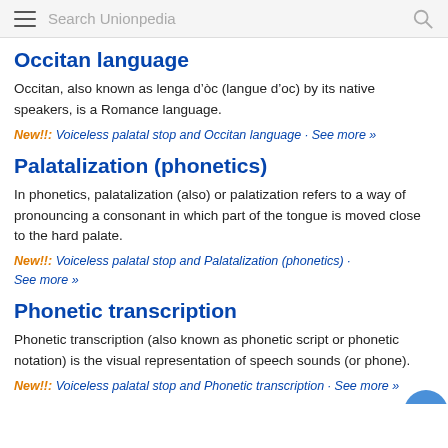Search Unionpedia
Occitan language
Occitan, also known as lenga d’òc (langue d’oc) by its native speakers, is a Romance language.
New!!: Voiceless palatal stop and Occitan language · See more »
Palatalization (phonetics)
In phonetics, palatalization (also) or palatization refers to a way of pronouncing a consonant in which part of the tongue is moved close to the hard palate.
New!!: Voiceless palatal stop and Palatalization (phonetics) · See more »
Phonetic transcription
Phonetic transcription (also known as phonetic script or phonetic notation) is the visual representation of speech sounds (or phone).
New!!: Voiceless palatal stop and Phonetic transcription · See more »